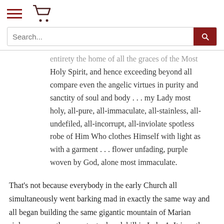[hamburger menu icon] [shopping cart icon]
Search...
entirety the home of all the graces of the Most Holy Spirit, and hence exceeding beyond all compare even the angelic virtues in purity and sanctity of soul and body . . . my Lady most holy, all-pure, all-immaculate, all-stainless, all-undefiled, all-incorrupt, all-inviolate spotless robe of Him Who clothes Himself with light as with a garment . . . flower unfading, purple woven by God, alone most immaculate.
That's not because everybody in the early Church all simultaneously went barking mad in exactly the same way and all began building the same gigantic mountain of Marian sinlessness on the same textual molehill in Luke 1. It is, rather, because the apostles, wherever they founded their Churches, taught that Mary was sinless and that their